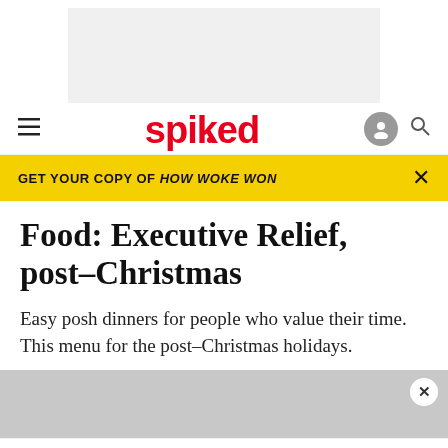[Figure (other): Gray advertisement banner placeholder at top of page]
spiked — navigation bar with hamburger menu, spiked logo in red, user icon and search icon
GET YOUR COPY OF HOW WOKE WON
Food: Executive Relief, post–Christmas
Easy posh dinners for people who value their time. This menu for the post–Christmas holidays.
[Figure (photo): Partial food photograph, mostly gray/white, with popup close button (×)]
ABOUT   PRIVACY   MANAGE PRIVACY   TERMS